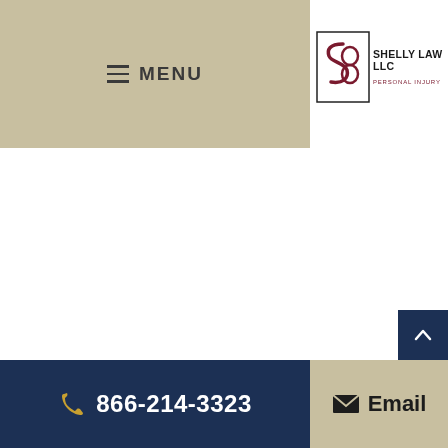[Figure (logo): Shelly Law Offices LLC logo — decorative S8 monogram in dark red with border, text: SHELLY LAW OFFICES, LLC / PERSONAL INJURY & WRONGFUL DEATH LAW]
≡ MENU
866-214-3323  Email